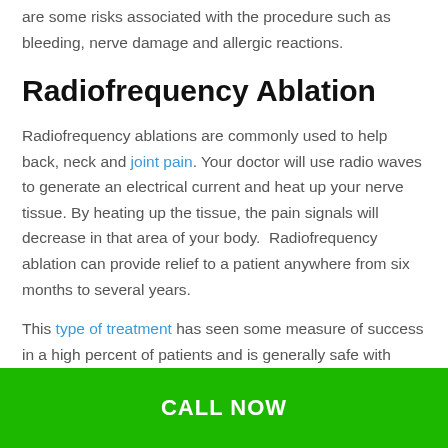are some risks associated with the procedure such as bleeding, nerve damage and allergic reactions.
Radiofrequency Ablation
Radiofrequency ablations are commonly used to help back, neck and joint pain. Your doctor will use radio waves to generate an electrical current and heat up your nerve tissue. By heating up the tissue, the pain signals will decrease in that area of your body. Radiofrequency ablation can provide relief to a patient anywhere from six months to several years.
This type of treatment has seen some measure of success in a high percent of patients and is generally safe with minimal side effects. If you receive radiofrequency ablation, you may experience bruising, pain at the site and general discomfort. This type of
CALL NOW